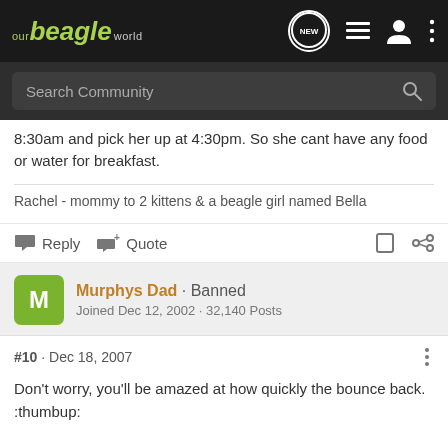our beagle world
8:30am and pick her up at 4:30pm. So she cant have any food or water for breakfast.
Rachel - mommy to 2 kittens & a beagle girl named Bella
Reply   Quote
Murphys Dad · Banned
Joined Dec 12, 2002 · 32,140 Posts
#10 · Dec 18, 2007
Don't worry, you'll be amazed at how quickly the bounce back. :thumbup: